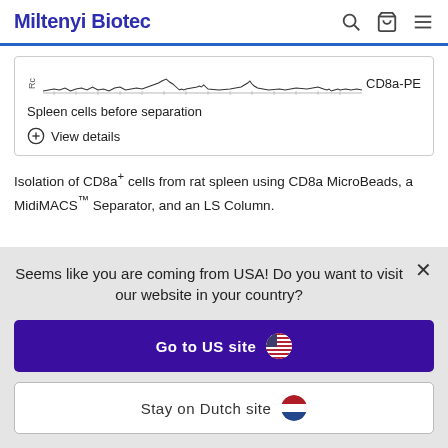Miltenyi Biotec
[Figure (continuous-plot): Flow cytometry plot showing CD8a-PE staining of spleen cells before separation, with Rc on y-axis and CD8a-PE label on right]
Spleen cells before separation
View details
Isolation of CD8a+ cells from rat spleen using CD8a MicroBeads, a MidiMACS™ Separator, and an LS Column.
Seems like you are coming from USA! Do you want to visit our website in your country?
Go to US site
Stay on Dutch site